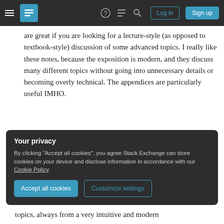Stack Exchange navigation bar with Log in and Sign up buttons
are great if you are looking for a lecture-style (as opposed to textbook-style) discussion of some advanced topics. I really like these notes, because the exposition is modern, and they discuss many different topics without going into unnecessary details or becoming overly technical. The appendices are particularly useful IMHO.
Timothy J. Hollowood's lecture notes. The "Renormalization Group" part is remarkably good IMHO.
Your privacy
By clicking "Accept all cookies", you agree Stack Exchange can store cookies on your device and disclose information in accordance with our Cookie Policy.
topics, always from a very intuitive and modern